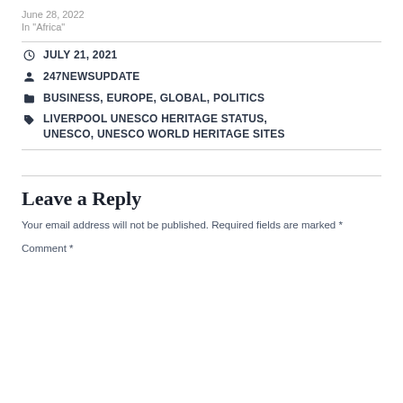June 28, 2022
In "Africa"
JULY 21, 2021
247NEWSUPDATE
BUSINESS, EUROPE, GLOBAL, POLITICS
LIVERPOOL UNESCO HERITAGE STATUS, UNESCO, UNESCO WORLD HERITAGE SITES
Leave a Reply
Your email address will not be published. Required fields are marked *
Comment *